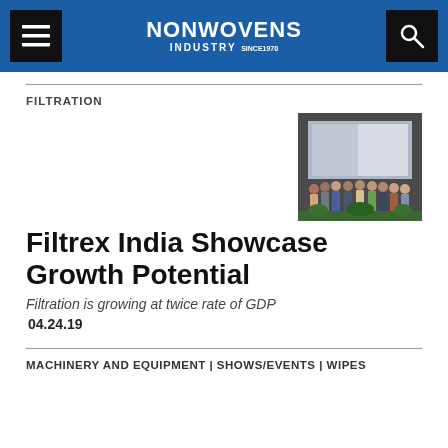NONWOVENS INDUSTRY
FILTRATION
[Figure (photo): Group of people standing on a stage at what appears to be an industry event or conference.]
Filtrex India Showcase Growth Potential
Filtration is growing at twice rate of GDP
04.24.19
MACHINERY AND EQUIPMENT | SHOWS/EVENTS | WIPES